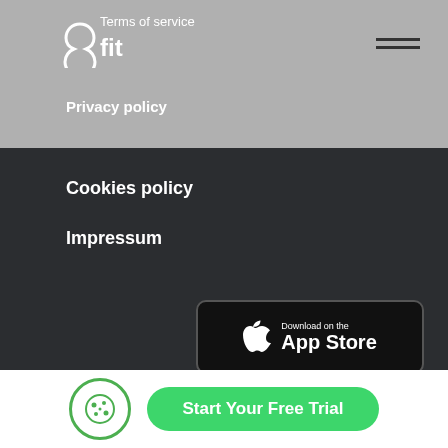8fit
Terms of service
Privacy policy
Cookies policy
Impressum
[Figure (logo): App Store download button]
[Figure (logo): Google Play download button]
[Figure (infographic): Social media icons: Facebook, Instagram, Pinterest, Twitter, YouTube, scroll-to-top arrow]
Start Your Free Trial